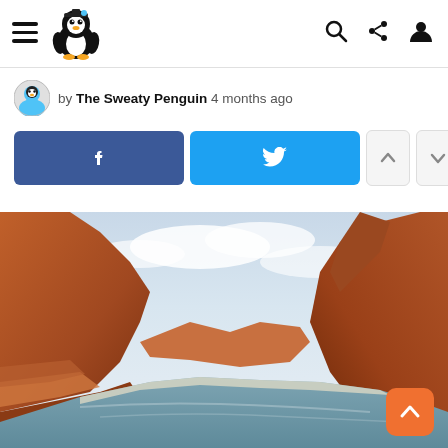Navigation bar with hamburger menu, The Sweaty Penguin logo, search, share, and profile icons
by The Sweaty Penguin 4 months ago
[Figure (screenshot): Social share buttons: Facebook (blue), Twitter (light blue), and two arrow navigation buttons (up and down)]
[Figure (photo): Landscape photo of Lake Powell or similar red rock canyon landscape with blue water and cloudy sky]